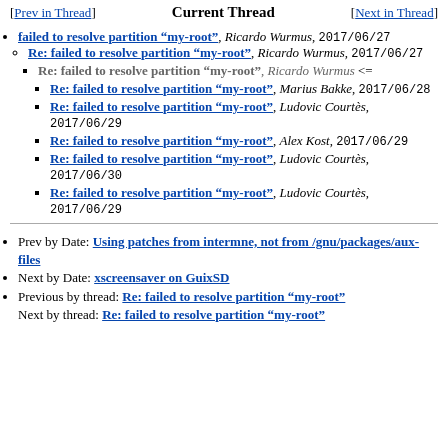[Prev in Thread]   Current Thread   [Next in Thread]
failed to resolve partition “my-root”, Ricardo Wurmus, 2017/06/27
Re: failed to resolve partition “my-root”, Ricardo Wurmus, 2017/06/27
Re: failed to resolve partition “my-root”, Ricardo Wurmus <=
Re: failed to resolve partition “my-root”, Marius Bakke, 2017/06/28
Re: failed to resolve partition “my-root”, Ludovic Courtès, 2017/06/29
Re: failed to resolve partition “my-root”, Alex Kost, 2017/06/29
Re: failed to resolve partition “my-root”, Ludovic Courtès, 2017/06/30
Re: failed to resolve partition “my-root”, Ludovic Courtès, 2017/06/29
Prev by Date: Using patches from intermne, not from /gnu/packages/aux-files
Next by Date: xscreensaver on GuixSD
Previous by thread: Re: failed to resolve partition “my-root”
Next by thread: Re: failed to resolve partition “my-root”